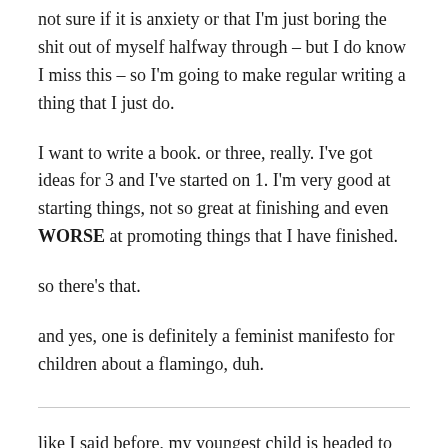not sure if it is anxiety or that I'm just boring the shit out of myself halfway through – but I do know I miss this – so I'm going to make regular writing a thing that I just do.
I want to write a book. or three, really. I've got ideas for 3 and I've started on 1. I'm very good at starting things, not so great at finishing and even WORSE at promoting things that I have finished.
so there's that.
and yes, one is definitely a feminist manifesto for children about a flamingo, duh.
like I said before, my youngest child is headed to TTU